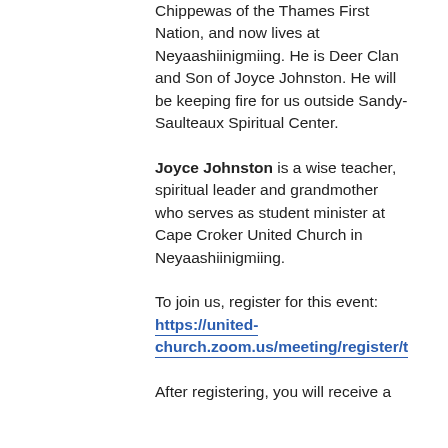Chippewas of the Thames First Nation, and now lives at Neyaashiinigmiing. He is Deer Clan and Son of Joyce Johnston. He will be keeping fire for us outside Sandy-Saulteaux Spiritual Center.
Joyce Johnston is a wise teacher, spiritual leader and grandmother who serves as student minister at Cape Croker United Church in Neyaashiinigmiing.
To join us, register for this event: https://united-church.zoom.us/meeting/register/t
After registering, you will receive a